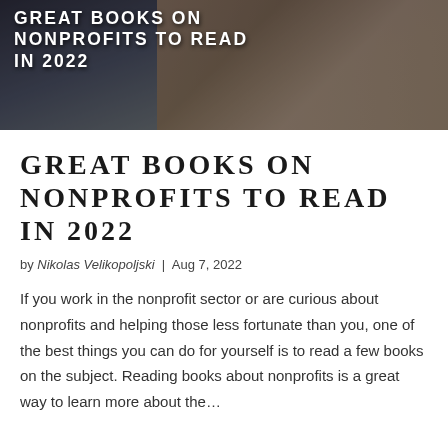[Figure (photo): Hero image showing hands holding an open book outdoors, with text overlay reading 'GREAT BOOKS ON NONPROFITS TO READ IN 2022']
GREAT BOOKS ON NONPROFITS TO READ IN 2022
by Nikolas Velikopoljski | Aug 7, 2022
If you work in the nonprofit sector or are curious about nonprofits and helping those less fortunate than you, one of the best things you can do for yourself is to read a few books on the subject. Reading books about nonprofits is a great way to learn more about the...